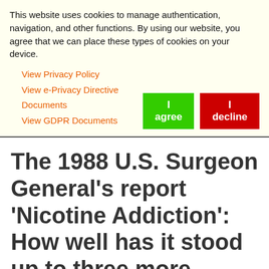This website uses cookies to manage authentication, navigation, and other functions. By using our website, you agree that we can place these types of cookies on your device.
View Privacy Policy
View e-Privacy Directive Documents
View GDPR Documents
The 1988 U.S. Surgeon General's report 'Nicotine Addiction': How well has it stood up to three more